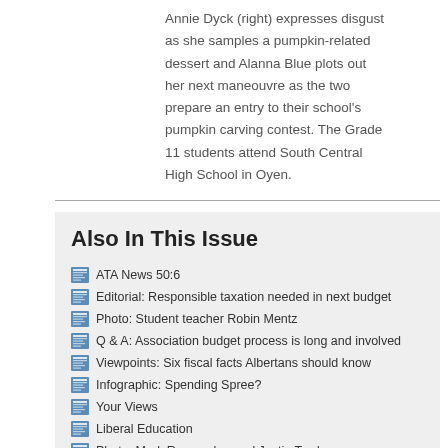Annie Dyck (right) expresses disgust as she samples a pumpkin-related dessert and Alanna Blue plots out her next maneouvre as the two prepare an entry to their school's pumpkin carving contest. The Grade 11 students attend South Central High School in Oyen.
Also In This Issue
ATA News 50:6
Editorial: Responsible taxation needed in next budget
Photo: Student teacher Robin Mentz
Q & A: Association budget process is long and involved
Viewpoints: Six fiscal facts Albertans should know
Infographic: Spending Spree?
Your Views
Liberal Education
Photo: Mark Ramsankar and Justin Trudeau
Maintenance budget welcome ... for now, says ATA